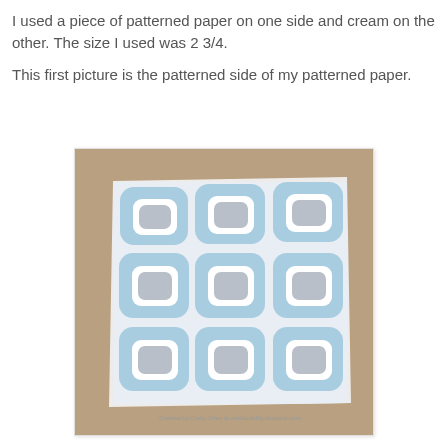I used a piece of patterned paper on one side and cream on the other. The size I used was 2 3/4.
This first picture is the patterned side of my patterned paper.
[Figure (photo): A square piece of patterned paper with blue and grey rounded square pattern on a white background, placed on a tan/brown surface. The paper shows a retro-style geometric pattern of rounded squares in light blue with grey centers arranged in a grid.]